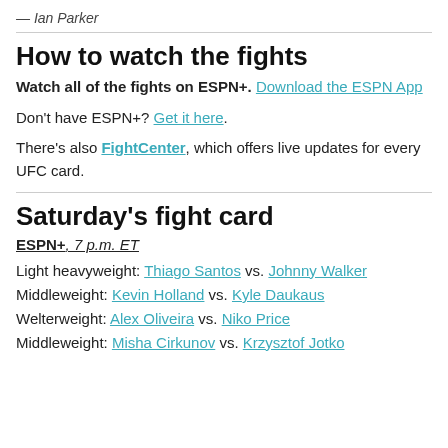— Ian Parker
How to watch the fights
Watch all of the fights on ESPN+. Download the ESPN App
Don't have ESPN+? Get it here.
There's also FightCenter, which offers live updates for every UFC card.
Saturday's fight card
ESPN+, 7 p.m. ET
Light heavyweight: Thiago Santos vs. Johnny Walker
Middleweight: Kevin Holland vs. Kyle Daukaus
Welterweight: Alex Oliveira vs. Niko Price
Middleweight: Misha Cirkunov vs. Krzysztof Jotko